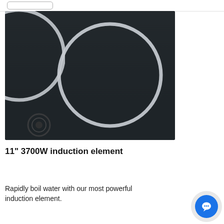[Figure (photo): Close-up photo of a black induction cooktop surface showing a large circular burner ring in silver/white and a partial view of another burner ring in the upper left corner, with a small circular knob visible at the bottom left.]
11" 3700W induction element
Rapidly boil water with our most powerful induction element.